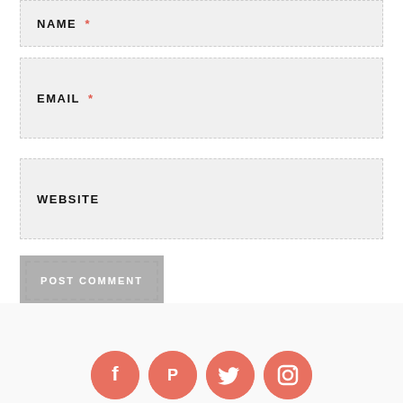NAME *
EMAIL *
WEBSITE
POST COMMENT
Notify me of new comments via email.
Notify me of new posts via email.
[Figure (illustration): Social media icons row: Facebook, Pinterest, Twitter, Instagram — coral/salmon colored circular icons]